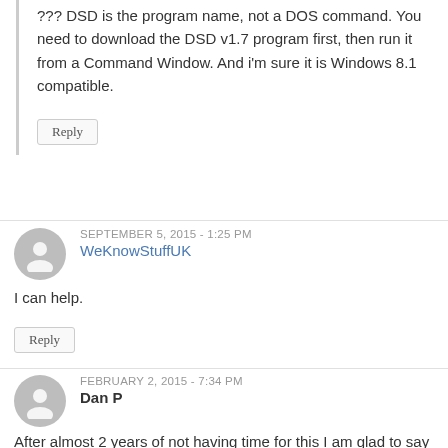??? DSD is the program name, not a DOS command. You need to download the DSD v1.7 program first, then run it from a Command Window. And i'm sure it is Windows 8.1 compatible.
Reply
SEPTEMBER 5, 2015 - 1:25 PM
WeKnowStuffUK
I can help.
Reply
FEBRUARY 2, 2015 - 7:34 PM
Dan P
After almost 2 years of not having time for this I am glad to say i am back at it again. It all works fine except when decoding P25, I get broken audio pieces and on the DOS screen it shows alot of E’s and R’s along with a few lines of “Unrecoverable” messages. I am on the right path, but it may just need some fine tuning. Maybe increase my band with from 25000 to a higher band with? Does anybody have any suggestions or have had the